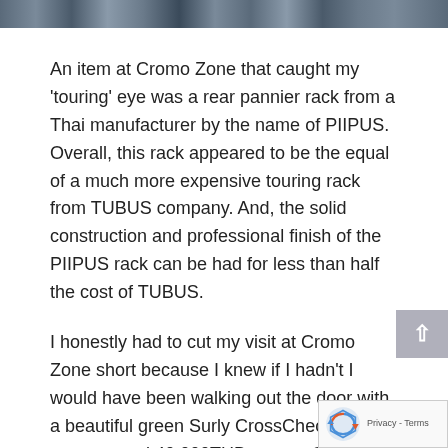[Figure (photo): Strip of photos at the top of the page showing people or scenes, rendered as a dark colored image strip]
An item at Cromo Zone that caught my 'touring' eye was a rear pannier rack from a Thai manufacturer by the name of PIIPUS. Overall, this rack appeared to be the equal of a much more expensive touring rack from TUBUS company. And, the solid construction and professional finish of the PIIPUS rack can be had for less than half the cost of TUBUS.
I honestly had to cut my visit at Cromo Zone short because I knew if I hadn't I would have been walking out the door with a beautiful green Surly CrossCheck under my arm, and 40,000THB poorer. Stop in and check out Cromo Zone next time you're in the area, or make a special trip just to see this Cromoly dedicated shop hi to Khun Boy and his assistant named Fight, and